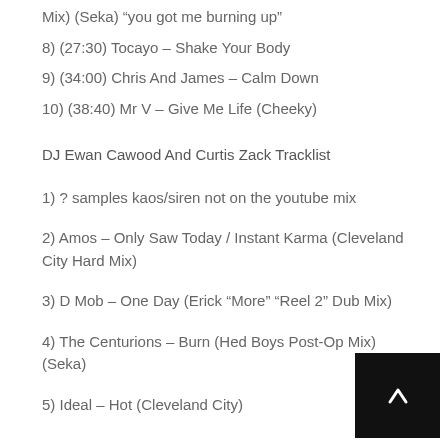Mix) (Seka) “you got me burning up”
8) (27:30) Tocayo – Shake Your Body
9) (34:00) Chris And James – Calm Down
10) (38:40) Mr V – Give Me Life (Cheeky)
DJ Ewan Cawood And Curtis Zack Tracklist
1) ? samples kaos/siren not on the youtube mix
2) Amos – Only Saw Today / Instant Karma (Cleveland City Hard Mix)
3) D Mob – One Day (Erick “More” “Reel 2” Dub Mix)
4) The Centurions – Burn (Hed Boys Post-Op Mix) (Seka)
5) Ideal – Hot (Cleveland City)